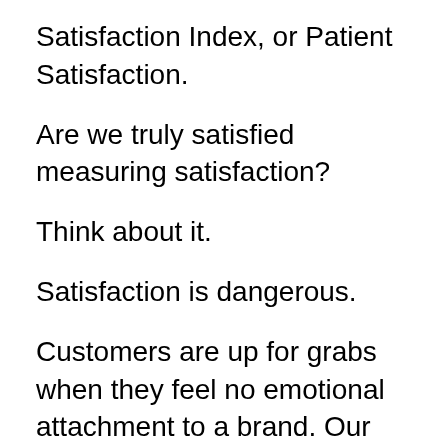Satisfaction Index, or Patient Satisfaction.
Are we truly satisfied measuring satisfaction?
Think about it.
Satisfaction is dangerous.
Customers are up for grabs when they feel no emotional attachment to a brand. Our goal at Disney is to exceed Guest expectations, not meet them. We don’t aim for satisfaction, we aim for “wow”.
None of us say, “Wow, that was satisfying.”